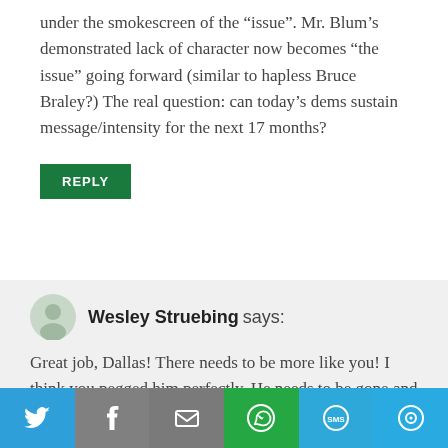under the smokescreen of the “issue”. Mr. Blum’s demonstrated lack of character now becomes “the issue” going forward (similar to hapless Bruce Braley?) The real question: can today’s dems sustain message/intensity for the next 17 months?
REPLY
Wesley Struebing says:
Great job, Dallas! There needs to be more like you! I think you pegged him perfectly. He needs to be gone and never darken the doors of District One again.
REPLY